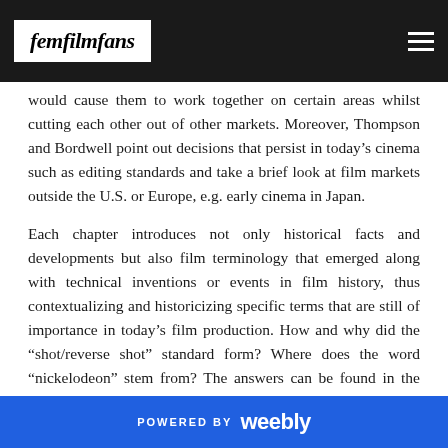femfilmfans
would cause them to work together on certain areas whilst cutting each other out of other markets. Moreover, Thompson and Bordwell point out decisions that persist in today's cinema such as editing standards and take a brief look at film markets outside the U.S. or Europe, e.g. early cinema in Japan.
Each chapter introduces not only historical facts and developments but also film terminology that emerged along with technical inventions or events in film history, thus contextualizing and historicizing specific terms that are still of importance in today's film production. How and why did the “shot/reverse shot” standard form? Where does the word “nickelodeon” stem from? The answers can be found in the book as well as many
POWERED BY weebly